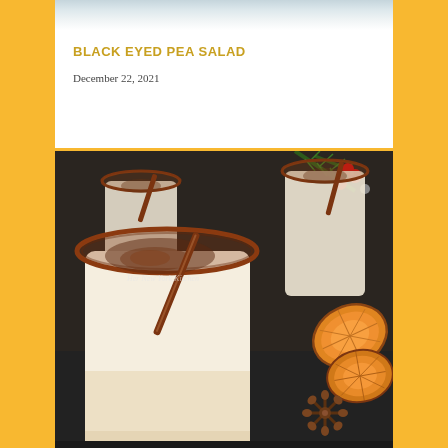[Figure (photo): Top portion of a food photo (cropped, showing only bottom edge), appears to be a salad dish on a light background]
BLACK EYED PEA SALAD
December 22, 2021
[Figure (photo): Photo of eggnog drinks in glasses garnished with cinnamon sticks and dusted with cocoa/cinnamon powder, rim coated with chocolate/cinnamon, set on a dark background with dried orange slices, star anise, red berries, and pine branches]